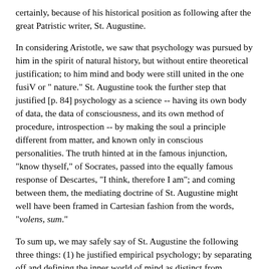certainly, because of his historical position as following after the great Patristic writer, St. Augustine.
In considering Aristotle, we saw that psychology was pursued by him in the spirit of natural history, but without entire theoretical justification; to him mind and body were still united in the one fusiV or " nature." St. Augustine took the further step that justified [p. 84] psychology as a science -- having its own body of data, the data of consciousness, and its own method of procedure, introspection -- by making the soul a principle different from matter, and known only in conscious personalities. The truth hinted at in the famous injunction, "know thyself," of Socrates, passed into the equally famous response of Descartes, "I think, therefore I am"; and coming between them, the mediating doctrine of St. Augustine might well have been framed in Cartesian fashion from the words, "volens, sum."
To sum up, we may safely say of St. Augustine the following three things: (1) he justified empirical psychology; by separating off and defining the inner world of mind as distinct from physical nature; (2) he developed the dualism of mind and body up to the point at which their actual separation as different substances could be made by Descartes; and (3) he established the function of reflection, by which the self distinguishes itself as subject from the objects of its thought, thus carrying dualism on to a new stage of development.